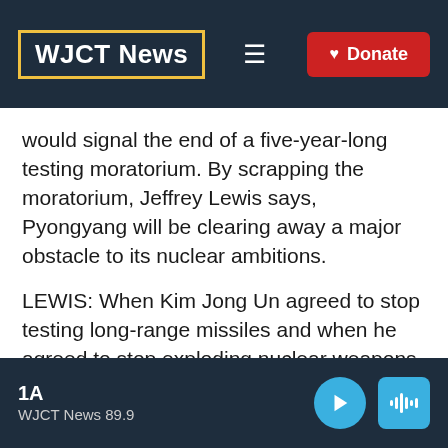WJCT News
would signal the end of a five-year-long testing moratorium. By scrapping the moratorium, Jeffrey Lewis says, Pyongyang will be clearing away a major obstacle to its nuclear ambitions.
LEWIS: When Kim Jong Un agreed to stop testing long-range missiles and when he agreed to stop exploding nuclear weapons, that was a real constraint not on his
1A
WJCT News 89.9